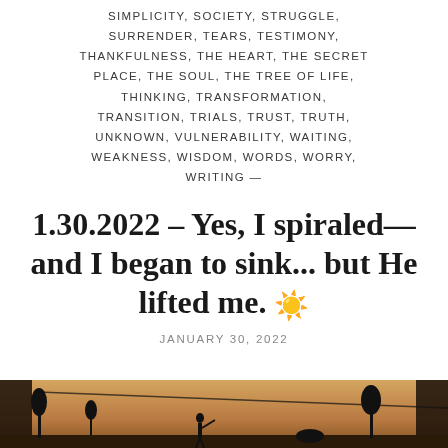SIMPLICITY, SOCIETY, STRUGGLE, SURRENDER, TEARS, TESTIMONY, THANKFULNESS, THE HEART, THE SECRET PLACE, THE SOUL, THE TREE OF LIFE, THINKING, TRANSFORMATION, TRANSITION, TRIALS, TRUST, TRUTH, UNKNOWN, VULNERABILITY, WAITING, WEAKNESS, WISDOM, WORDS, WORRY, WRITING —
1.30.2022 – Yes, I spiraled—and I began to sink... but He lifted me. ☀️
JANUARY 30, 2022
[Figure (photo): A warm-toned outdoor photo strip showing silhouettes of trees and a person against a golden/sandy background, visible at the bottom of the page.]